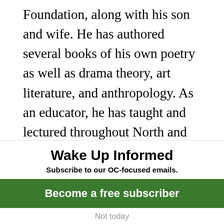Foundation, along with his son and wife. He has authored several books of his own poetry as well as drama theory, art literature, and anthropology. As an educator, he has taught and lectured throughout North and South America, Europe, Asia, and the Middle East.
Daniel Weisz, the grandson of Leonora Carrington, is the secretary and co-founder of the Leonora Carrington Foundation.
Wake Up Informed
Subscribe to our OC-focused emails.
Become a free subscriber
Not today